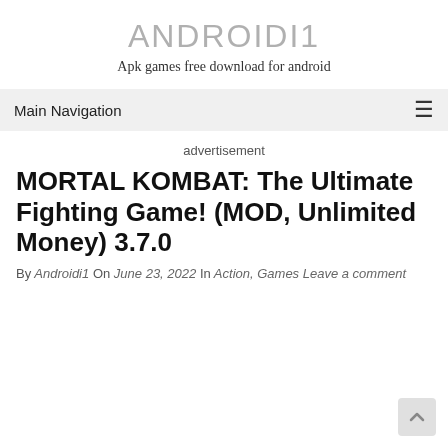ANDROIDI1
Apk games free download for android
Main Navigation
advertisement
MORTAL KOMBAT: The Ultimate Fighting Game! (MOD, Unlimited Money) 3.7.0
By Androidi1 On June 23, 2022 In Action, Games Leave a comment